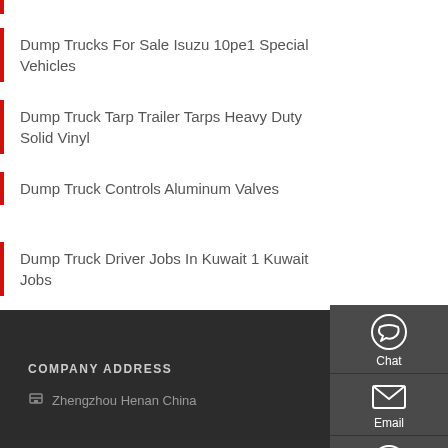Dump Trucks For Sale Isuzu 10pe1 Special Vehicles
Dump Truck Tarp Trailer Tarps Heavy Duty Solid Vinyl
Dump Truck Controls Aluminum Valves
Dump Truck Driver Jobs In Kuwait 1 Kuwait Jobs
Dump Truck Drivers In United States
[Figure (infographic): Sidebar panel with Chat, Email, and Contact icons on dark grey background]
COMPANY ADDRESS
Zhengzhou Henan China